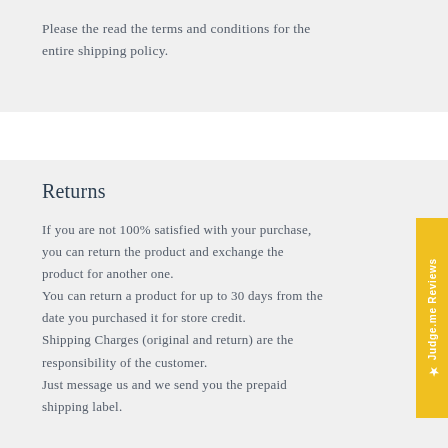Please the read the terms and conditions for the entire shipping policy.
Returns
If you are not 100% satisfied with your purchase, you can return the product and exchange the product for another one. You can return a product for up to 30 days from the date you purchased it for store credit. Shipping Charges (original and return) are the responsibility of the customer. Just message us and we send you the prepaid shipping label.